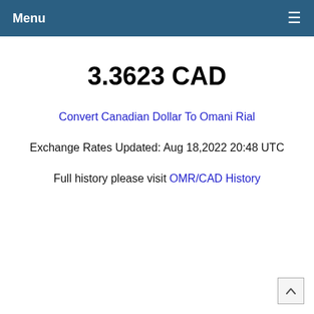Menu ≡
3.3623 CAD
Convert Canadian Dollar To Omani Rial
Exchange Rates Updated: Aug 18,2022 20:48 UTC
Full history please visit OMR/CAD History